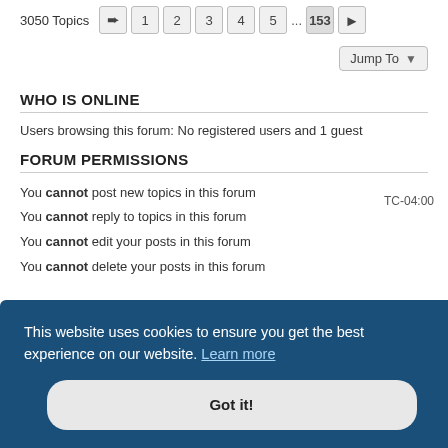3050 Topics  1 2 3 4 5 ... 153
Jump To
WHO IS ONLINE
Users browsing this forum: No registered users and 1 guest
FORUM PERMISSIONS
You cannot post new topics in this forum
You cannot reply to topics in this forum
You cannot edit your posts in this forum
You cannot delete your posts in this forum
TC-04:00
This website uses cookies to ensure you get the best experience on our website. Learn more
Got it!